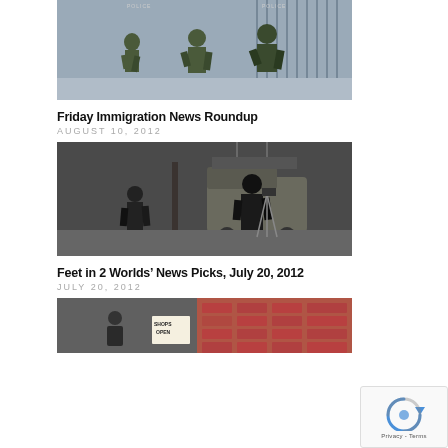[Figure (photo): Three SWAT officers in tactical gear walking along a fenced area]
Friday Immigration News Roundup
AUGUST 10, 2012
[Figure (photo): Black and white photo of two people on a city sidewalk with a van and camera equipment]
Feet in 2 Worlds’ News Picks, July 20, 2012
JULY 20, 2012
[Figure (photo): Person near a brick building with a newspaper sign reading SHOPS OPEN]